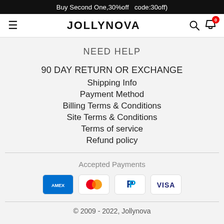Buy Second One,30%off  code:30off)
JOLLYNOVA
NEED HELP
90 DAY RETURN OR EXCHANGE
Shipping Info
Payment Method
Billing Terms & Conditions
Site Terms & Conditions
Terms of service
Refund policy
Accepted Payments
[Figure (other): Payment method icons: American Express (AMEX), Mastercard, PayPal, VISA]
© 2009 - 2022, Jollynova